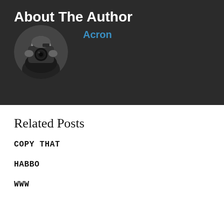About The Author
[Figure (photo): Circular avatar photo of a person holding a camera, shown in black and white.]
Acron
Related Posts
COPY THAT
HABBO
WWW